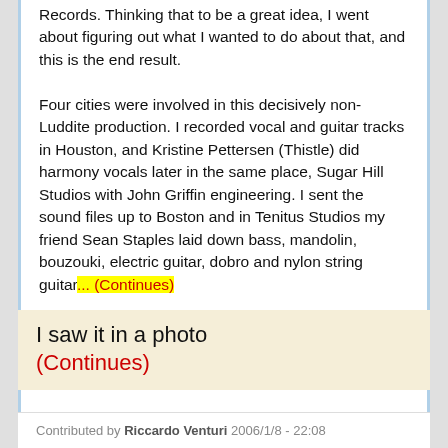Records. Thinking that to be a great idea, I went about figuring out what I wanted to do about that, and this is the end result.

Four cities were involved in this decisively non-Luddite production. I recorded vocal and guitar tracks in Houston, and Kristine Pettersen (Thistle) did harmony vocals later in the same place, Sugar Hill Studios with John Griffin engineering. I sent the sound files up to Boston and in Tenitus Studios my friend Sean Staples laid down bass, mandolin, bouzouki, electric guitar, dobro and nylon string guitar... (Continues)
I saw it in a photo
(Continues)
Contributed by Riccardo Venturi 2006/1/8 - 22:08